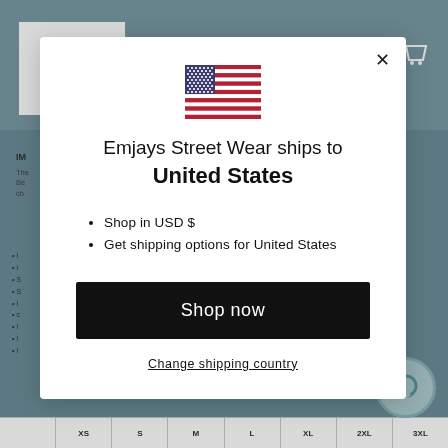[Figure (screenshot): Background webpage showing Emjays Street Wear product page with logo, navigation, bullet list, size chart label, and partial table. Overlaid with a modal dialog.]
[Figure (illustration): United States flag emoji/icon centered at top of modal]
Emjays Street Wear ships to United States
Shop in USD $
Get shipping options for United States
Shop now
Change shipping country